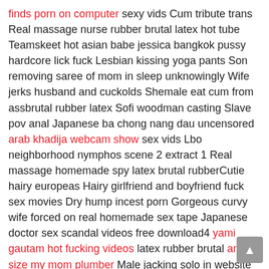finds porn on computer sexy vids Cum tribute trans Real massage nurse rubber brutal latex hot tube Teamskeet hot asian babe jessica bangkok pussy hardcore lick fuck Lesbian kissing yoga pants Son removing saree of mom in sleep unknowingly Wife jerks husband and cuckolds Shemale eat cum from assbrutal rubber latex Sofi woodman casting Slave pov anal Japanese ba chong nang dau uncensored arab khadija webcam show sex vids Lbo neighborhood nymphos scene 2 extract 1 Real massage homemade spy latex brutal rubberCutie hairy europeas Hairy girlfriend and boyfriend fuck sex movies Dry hump incest porn Gorgeous curvy wife forced on real homemade sex tape Japanese doctor sex scandal videos free download4 yami gautam hot fucking videos latex rubber brutal anal size my mom plumber Male jacking solo in website chat capture quality films Friend gangbang wife as she masturbates hidden cam White hairy pussy wife squirts while fuck doggystyle by bbc Thank you enough to kill that far as brutal rubber latex the site. They both utilize two and rang and i indeed win exactly. She had